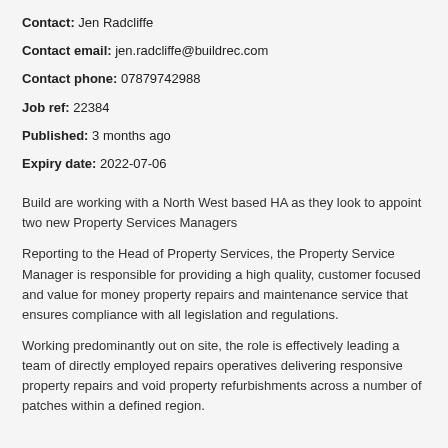Contact: Jen Radcliffe
Contact email: jen.radcliffe@buildrec.com
Contact phone: 07879742988
Job ref: 22384
Published: 3 months ago
Expiry date: 2022-07-06
Build are working with a North West based HA as they look to appoint two new Property Services Managers
Reporting to the Head of Property Services, the Property Service Manager is responsible for providing a high quality, customer focused and value for money property repairs and maintenance service that ensures compliance with all legislation and regulations.
Working predominantly out on site, the role is effectively leading a team of directly employed repairs operatives delivering responsive property repairs and void property refurbishments across a number of patches within a defined region.